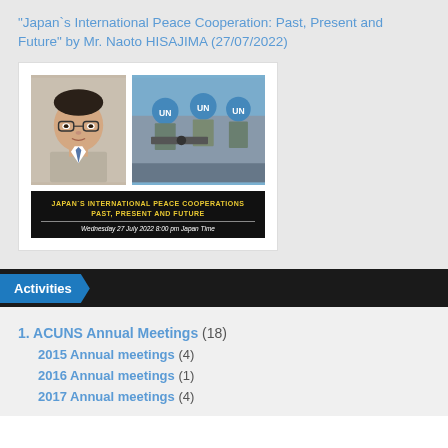“Japan`s International Peace Cooperation: Past, Present and Future” by Mr. Naoto HISAJIMA (27/07/2022)
[Figure (photo): Card showing a headshot photo of Mr. Naoto HISAJIMA on the left, a photo of UN peacekeeping soldiers in blue helmets on the right, and a black banner below reading 'JAPAN`S INTERNATIONAL PEACE COOPERATIONS PAST, PRESENT AND FUTURE' in yellow with the date 'Wednesday 27 July 2022 8:00 pm Japan Time' in white italic.]
Activities
1. ACUNS Annual Meetings (18)
2015 Annual meetings (4)
2016 Annual meetings (1)
2017 Annual meetings (4)